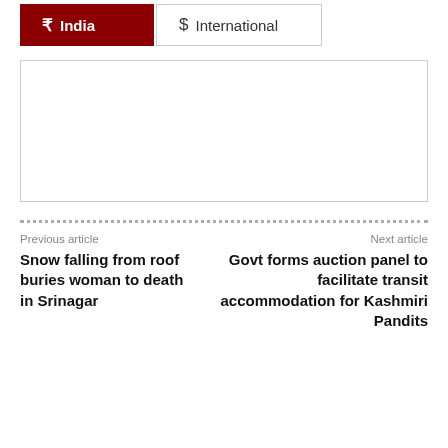₹  India
$  International
[Figure (other): Advertisement placeholder box (empty white rectangle with border)]
Previous article
Next article
Snow falling from roof buries woman to death in Srinagar
Govt forms auction panel to facilitate transit accommodation for Kashmiri Pandits